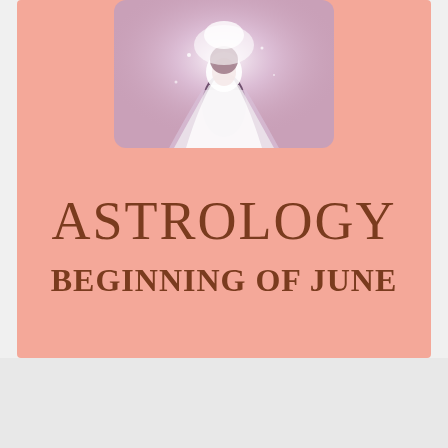[Figure (illustration): Anime-style illustration of a glowing angelic or fantasy figure in white flowing robes/dress with light radiating behind, on a pink background with rounded rectangle frame]
ASTROLOGY
BEGINNING OF JUNE
Advertisements
[Figure (screenshot): DuckDuckGo advertisement banner: orange left section reading 'Search, browse, and email with more privacy. All in One Free App', dark right section with DuckDuckGo duck logo and brand name]